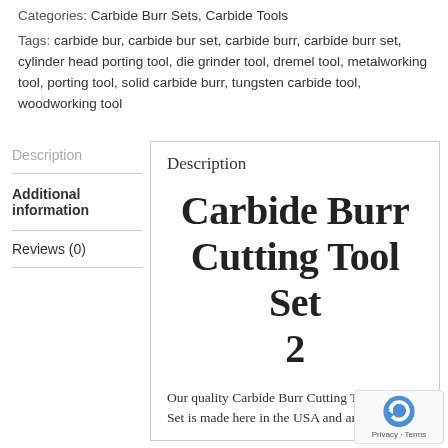Categories: Carbide Burr Sets, Carbide Tools
Tags: carbide bur, carbide bur set, carbide burr, carbide burr set, cylinder head porting tool, die grinder tool, dremel tool, metalworking tool, porting tool, solid carbide burr, tungsten carbide tool, woodworking tool
Description
Additional information
Reviews (0)
Description
Carbide Burr Cutting Tool Set 2
Our quality Carbide Burr Cutting Tool Set is made here in the USA and ar...